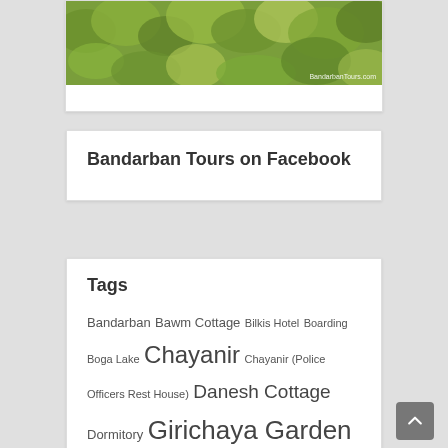[Figure (photo): Aerial or landscape photo of dense green forest/vegetation with watermark 'BandarbanTours.com' in the bottom right corner]
Bandarban Tours on Facebook
Tags
Bandarban Bawm Cottage Bilkis Hotel Boarding Boga Lake Chayanir Chayanir (Police Officers Rest House) Danesh Cottage Dormitory Girichaya Garden Resort Green Hill Hotel Hill Side Resort Hill Side